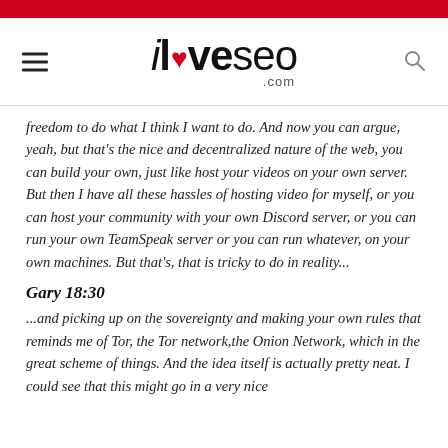iloveseo.com
freedom to do what I think I want to do. And now you can argue, yeah, but that's the nice and decentralized nature of the web, you can build your own, just like host your videos on your own server. But then I have all these hassles of hosting video for myself, or you can host your community with your own Discord server, or you can run your own TeamSpeak server or you can run whatever, on your own machines. But that's, that is tricky to do in reality...
Gary 18:30
...and picking up on the sovereignty and making your own rules that reminds me of Tor, the Tor network,the Onion Network, which in the great scheme of things. And the idea itself is actually pretty neat. I could see that this might go in a very nice